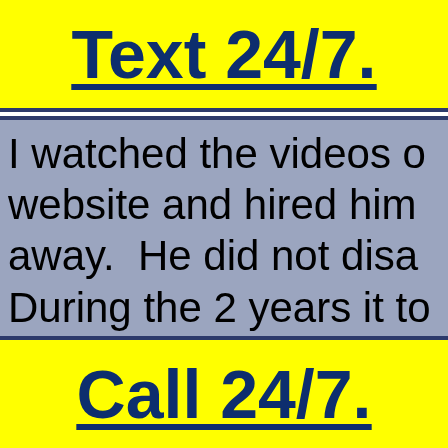Text 24/7.
I watched the videos on his website and hired him right away.  He did not disappoint. During the 2 years it took to reach trial, he answered...
Call 24/7.